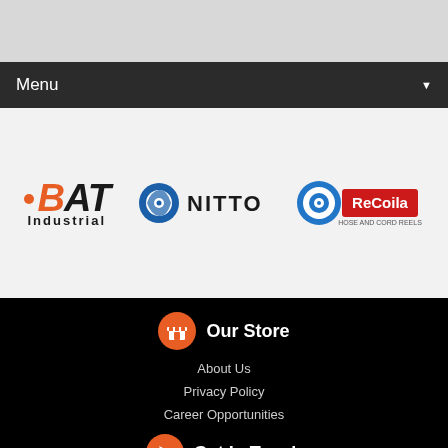Menu
[Figure (logo): BAT Industrial logo - orange dot with stylized BAT lettering and 'Industrial' text below]
[Figure (logo): Nitto logo - blue circular swirl icon with NITTO text]
[Figure (logo): ReCoila logo - blue circular target icon with ReCoila red text and tagline]
Our Store
About Us
Privacy Policy
Career Opportunities
Get In Touch
MAXIMUS INDUSTRIAL GROUP - NSW
7/11 Kyle Street